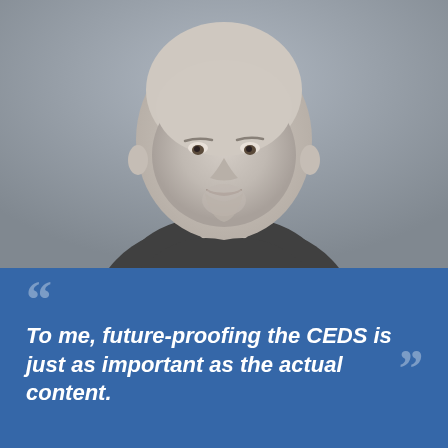[Figure (photo): Black and white headshot of a bald middle-aged man with a goatee, wearing a dark polo shirt, against a light gray blurred background]
To me, future-proofing the CEDS is just as important as the actual content.